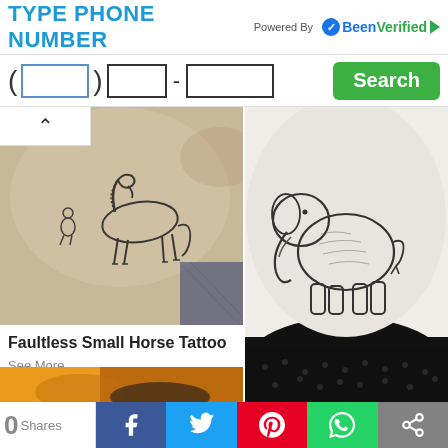TYPE PHONE NUMBER
[Figure (screenshot): BeenVerified logo with phone number search form including area code, prefix, line number fields and green Search button]
[Figure (photo): Black and white photo of a small horse tattoo with a crouching figure on someone's shoulder/back skin]
Faultless Small Horse Tattoo
See More
[Figure (photo): Black and white close-up photo of an elegant small elephant tattoo on skin]
Elegant Small Elephant Tattoos
See More
[Figure (photo): Partial view of another tattoo photo with orange/yellow background]
0 Shares — Facebook, Twitter, Pinterest, WhatsApp, Share social bar